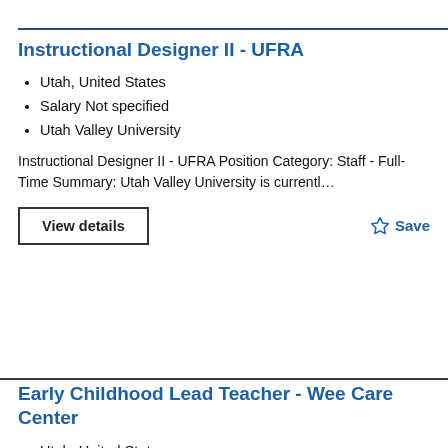Instructional Designer II - UFRA
Utah, United States
Salary Not specified
Utah Valley University
Instructional Designer II - UFRA Position Category: Staff - Full-Time Summary: Utah Valley University is currentl…
View details
Save
Early Childhood Lead Teacher - Wee Care Center
Utah, United States
Salary Not specified
Utah Valley University